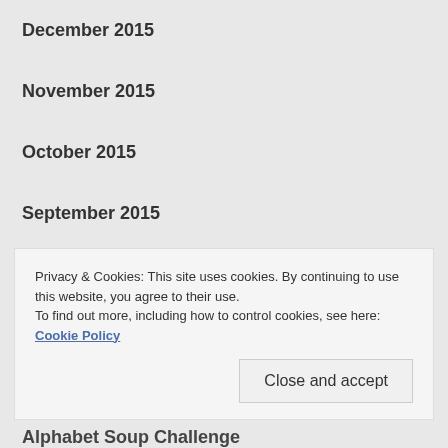December 2015
November 2015
October 2015
September 2015
August 2015
July 2015
Privacy & Cookies: This site uses cookies. By continuing to use this website, you agree to their use.
To find out more, including how to control cookies, see here: Cookie Policy
Close and accept
Alphabet Soup Challenge